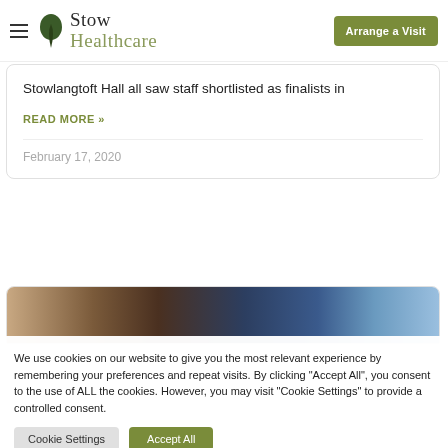Stow Healthcare — Arrange a Visit
Stowlangtoft Hall all saw staff shortlisted as finalists in
READ MORE »
February 17, 2020
[Figure (photo): Partial image visible at bottom of second card]
We use cookies on our website to give you the most relevant experience by remembering your preferences and repeat visits. By clicking "Accept All", you consent to the use of ALL the cookies. However, you may visit "Cookie Settings" to provide a controlled consent.